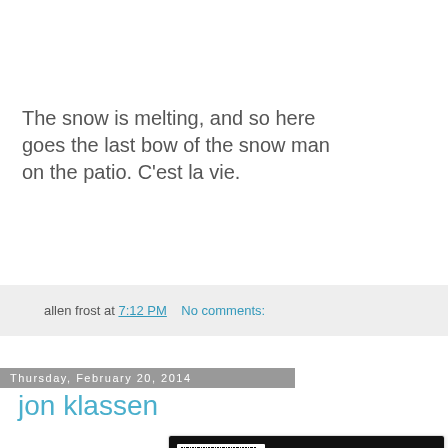The snow is melting, and so here goes the last bow of the snow man on the patio. C'est la vie.
allen frost at 7:12 PM    No comments:
Thursday, February 20, 2014
jon klassen
[Figure (photo): Book cover of 'This Is Not My Hat' by Jon Klassen — dark/black background with white text title and a barcode sticker in upper left corner. Text reads: THIS IS NOT MY HAT / JON KLASSEN]